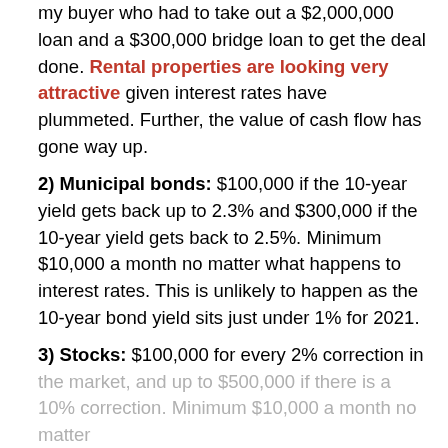my buyer who had to take out a $2,000,000 loan and a $300,000 bridge loan to get the deal done. Rental properties are looking very attractive given interest rates have plummeted. Further, the value of cash flow has gone way up.
2) Municipal bonds: $100,000 if the 10-year yield gets back up to 2.3% and $300,000 if the 10-year yield gets back to 2.5%. Minimum $10,000 a month no matter what happens to interest rates. This is unlikely to happen as the 10-year bond yield sits just under 1% for 2021.
3) Stocks: $100,000 for every 2% correction in the market, and up to $500,000 if there is a 10% correction. Minimum $10,000 a month no matter